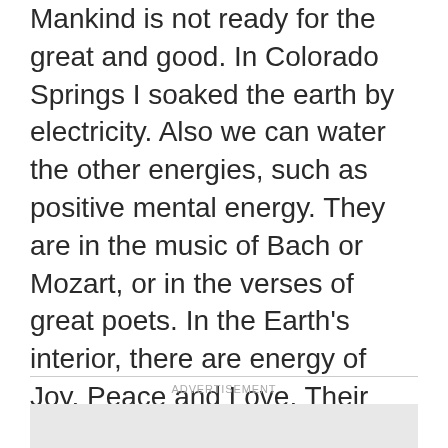Mankind is not ready for the great and good. In Colorado Springs I soaked the earth by electricity. Also we can water the other energies, such as positive mental energy. They are in the music of Bach or Mozart, or in the verses of great poets. In the Earth’s interior, there are energy of Joy, Peace and Love. Their expressions are a flower that grows from the Earth, the food we get out of her and everything that makes man’s homeland. I’ve spent years looking for the way that this energy could influence people. The beauty and the scent of roses can be used as a medicine and the sun rays as a food.
ADVERTISEMENT